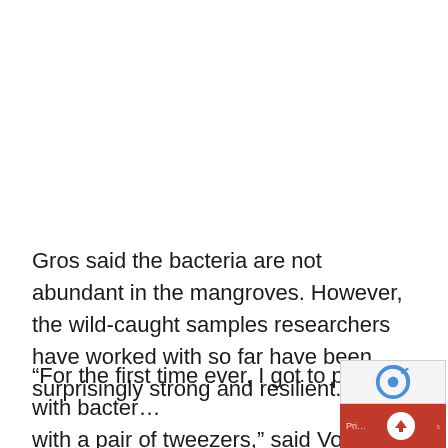Gros said the bacteria are not abundant in the mangroves. However, the wild-caught samples researchers have worked with so far have been surprisingly strong and resilient.
“For the first time ever, I got to play with bacte… with a pair of tweezers,” said Volland, a marine biologist at the Lawrence Berkeley National